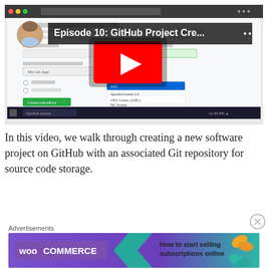[Figure (screenshot): YouTube video thumbnail showing Episode 10: GitHub Project Cre... with a play button overlay on a GitHub repository creation page screenshot, with a circular avatar of a bald man in the top-left corner and a Windows taskbar at the bottom.]
In this video, we walk through creating a new software project on GitHub with an associated Git repository for source code storage.
[Figure (screenshot): WooCommerce advertisement banner: 'How to start selling subscriptions online' with WooCommerce logo on purple/teal gradient background and orange leaf decoration on the right.]